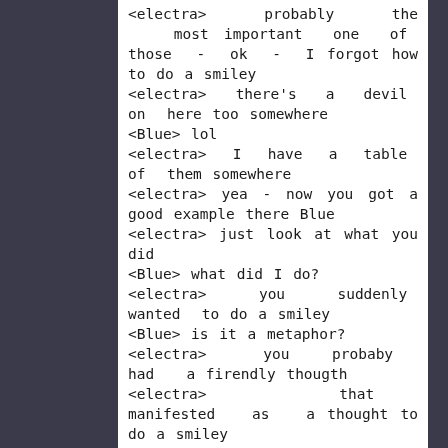<electra> probably the most important one of those - ok - I forgot how to do a smiley <electra> there's a devil on here too somewhere <Blue> lol <electra> I have a table of them somewhere <electra> yea - now you got a good example there Blue <electra> just look at what you did <Blue> what did I do? <electra> you suddenly wanted to do a smiley <Blue> is it a metaphor? <electra> you probaby had a firendly thougth <electra> that manifested as a thought to do a smiley